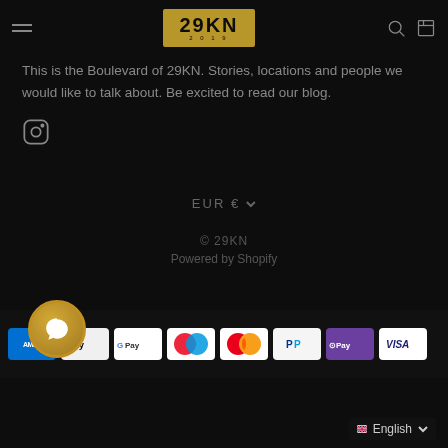29KN
This is the Boulevard of 29KN. Stories, locations and people we would like to talk about. Be excited to read our blog.
[Figure (logo): Instagram icon]
EUR €
© 29KN
Powered by Shopify
[Figure (infographic): Payment method icons: American Express, Apple Pay, Google Pay, Maestro, Mastercard, PayPal, Apple Pay, Visa]
English